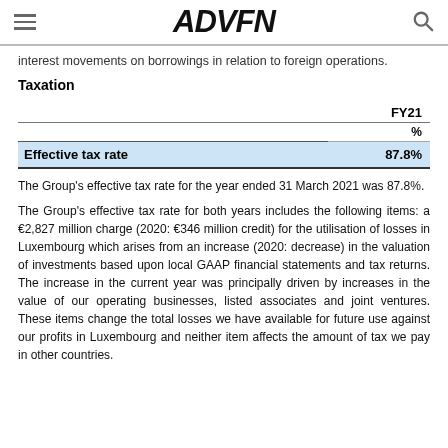ADVFN
interest movements on borrowings in relation to foreign operations.
Taxation
|  | FY21 | % |
| --- | --- | --- |
| Effective tax rate |  | 87.8% |
The Group's effective tax rate for the year ended 31 March 2021 was 87.8%.
The Group's effective tax rate for both years includes the following items: a €2,827 million charge (2020: €346 million credit) for the utilisation of losses in Luxembourg which arises from an increase (2020: decrease) in the valuation of investments based upon local GAAP financial statements and tax returns. The increase in the current year was principally driven by increases in the value of our operating businesses, listed associates and joint ventures. These items change the total losses we have available for future use against our profits in Luxembourg and neither item affects the amount of tax we pay in other countries.